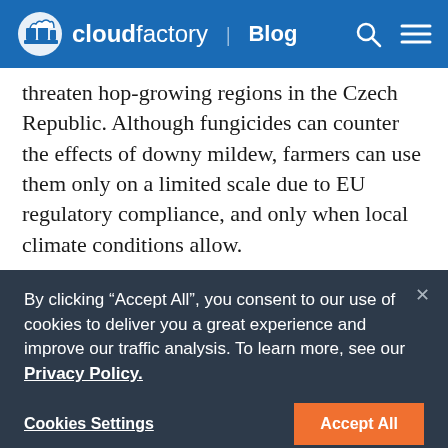cloudfactory | Blog
threaten hop-growing regions in the Czech Republic. Although fungicides can counter the effects of downy mildew, farmers can use them only on a limited scale due to EU regulatory compliance, and only when local climate conditions allow.
The unpredictable nature of climate change and
By clicking “Accept All”, you consent to our use of cookies to deliver you a great experience and improve our traffic analysis. To learn more, see our Privacy Policy.
Cookies Settings
Accept All